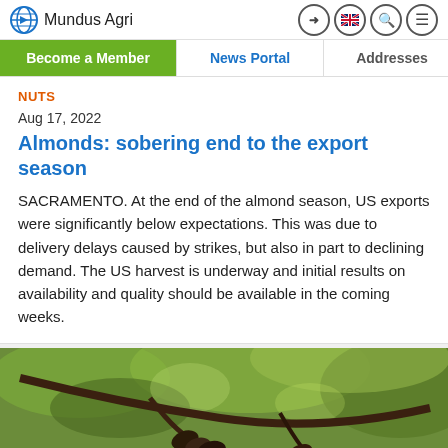Mundus Agri
NUTS
Aug 17, 2022
Almonds: sobering end to the export season
SACRAMENTO. At the end of the almond season, US exports were significantly below expectations. This was due to delivery delays caused by strikes, but also in part to declining demand. The US harvest is underway and initial results on availability and quality should be available in the coming weeks.
[Figure (photo): Close-up photograph of hands holding almond hulls/nuts on a tree branch with green leaves in background]